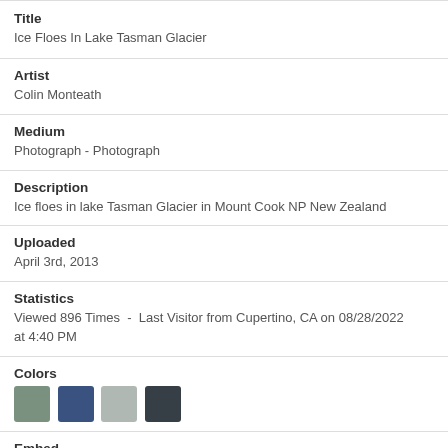Title
Ice Floes In Lake Tasman Glacier
Artist
Colin Monteath
Medium
Photograph - Photograph
Description
Ice floes in lake Tasman Glacier in Mount Cook NP New Zealand
Uploaded
April 3rd, 2013
Statistics
Viewed 896 Times  -  Last Visitor from Cupertino, CA on 08/28/2022 at 4:40 PM
Colors
[Figure (other): Four color swatches: muted green, dark blue, light gray, dark charcoal]
Embed
<a href='https://animalsandearth.com/featured/1-ice-floes-in-lake-t